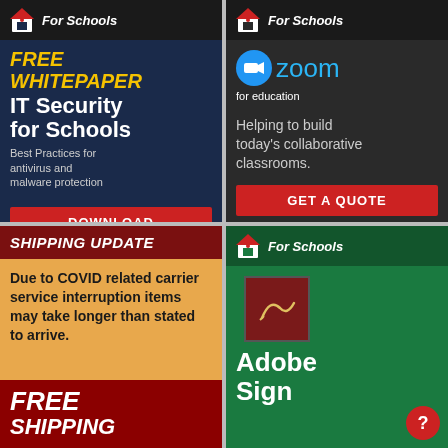[Figure (infographic): Ad panel: FREE WHITEPAPER - IT Security for Schools. Best Practices for antivirus and malware protection. DOWNLOAD button.]
[Figure (infographic): Ad panel: Zoom for education. Helping to build today's collaborative classrooms. GET A QUOTE button.]
[Figure (infographic): SHIPPING UPDATE notice on dark red background. Due to COVID related carrier service interruption items may take longer than stated to arrive. FREE SHIPPING on tan/orange background.]
[Figure (infographic): Ad panel: For Schools - Adobe Sign product advertisement on green background.]